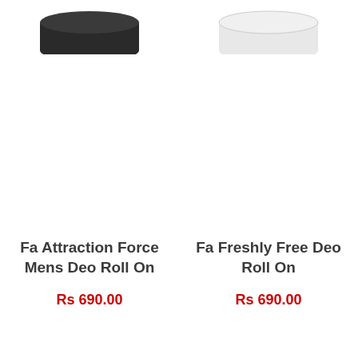[Figure (photo): Top portion of a dark/black deodorant roll-on bottle cap, cropped at top]
[Figure (photo): Top portion of a white deodorant roll-on bottle cap, cropped at top]
Fa Attraction Force Mens Deo Roll On
Rs 690.00
Fa Freshly Free Deo Roll On
Rs 690.00